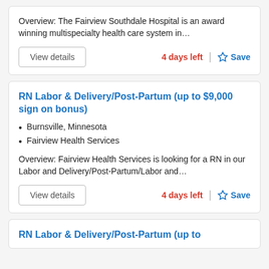Overview: The Fairview Southdale Hospital is an award winning multispecialty health care system in...
View details | 4 days left | Save
RN Labor & Delivery/Post-Partum (up to $9,000 sign on bonus)
Burnsville, Minnesota
Fairview Health Services
Overview: Fairview Health Services is looking for a RN in our Labor and Delivery/Post-Partum/Labor and...
View details | 4 days left | Save
RN Labor & Delivery/Post-Partum (up to